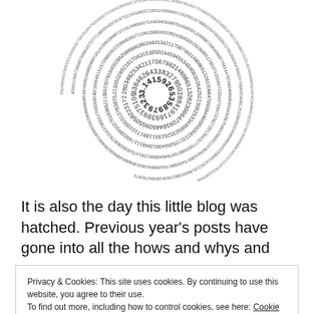[Figure (illustration): A spiral of the digits of pi (3.14159...) arranged in concentric circles, with '3.1' visible near the center, on a white background.]
It is also the day this little blog was hatched. Previous year's posts have gone into all the hows and whys and
Privacy & Cookies: This site uses cookies. By continuing to use this website, you agree to their use.
To find out more, including how to control cookies, see here: Cookie Policy
Close and accept